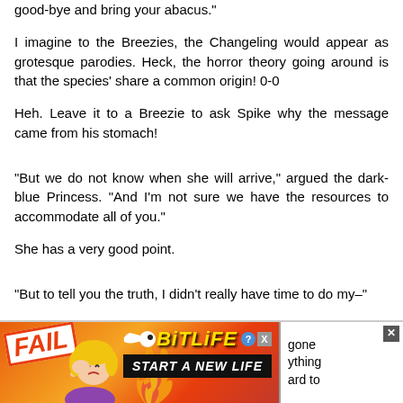good-bye and bring your abacus.
I imagine to the Breezies, the Changeling would appear as grotesque parodies. Heck, the horror theory going around is that the species' share a common origin! 0-0
Heh. Leave it to a Breezie to ask Spike why the message came from his stomach!
“But we do not know when she will arrive,” argued the dark-blue Princess. “And I’m not sure we have the resources to accommodate all of you.”
She has a very good point.
“But to tell you the truth, I didn’t really have time to do my–”
Then what is Pinkie talking about then?
[Figure (screenshot): Advertisement banner for BitLife game showing FAIL label, animated character, flames, BitLife logo with question/close buttons, and 'START A NEW LIFE' call to action. Right side shows partial text 'gone', 'ything', 'ard to' with a close X button.]